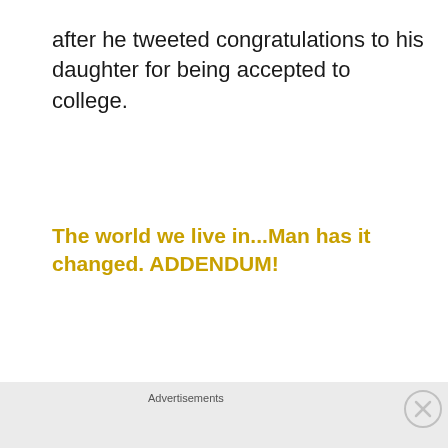after he tweeted congratulations to his daughter for being accepted to college.
The world we live in...Man has it changed. ADDENDUM!
[Figure (other): WooCommerce advertisement banner: purple background with WooCommerce logo on left, teal arrow shape, orange and blue decorative shapes on right, text 'How to start selling subscriptions online']
Wow. Sadly though, the types of Tweets Schilling is talking about, are all over the place. It's the
Advertisements